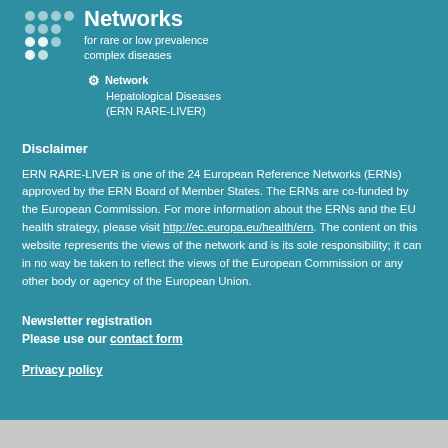[Figure (logo): European Reference Networks logo with dots pattern and title text]
Networks
for rare or low prevalence complex diseases
Network: Hepatological Diseases (ERN RARE-LIVER)
Disclaimer
ERN RARE-LIVER is one of the 24 European Reference Networks (ERNs) approved by the ERN Board of Member States. The ERNs are co-funded by the European Commission. For more information about the ERNs and the EU health strategy, please visit http://ec.europa.eu/health/ern. The content on this website represents the views of the network and is its sole responsibility; it can in no way be taken to reflect the views of the European Commission or any other body or agency of the European Union.
Newsletter registration
Please use our contact form
Privacy policy